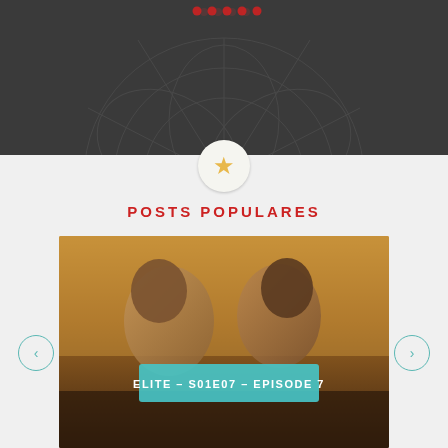[Figure (screenshot): Dark themed website header section with decorative background pattern in dark gray/charcoal color]
[Figure (photo): Screenshot of a website section labeled POSTS POPULARES showing a TV show image from Elite S01E07 Episode 7 with two male figures in an intimate scene, overlaid with a teal banner label. Navigation arrows on left and right sides.]
POSTS POPULARES
ELITE – S01E07 – EPISODE 7